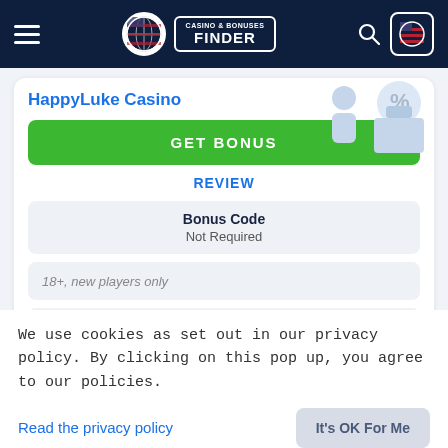Casino & Bonuses Finder
HappyLuke Casino
GET BONUS
REVIEW
| Bonus Code |
| --- |
| Not Required |
18+, new players only
We use cookies as set out in our privacy policy. By clicking on this pop up, you agree to our policies.
Read the privacy policy
It's OK For Me